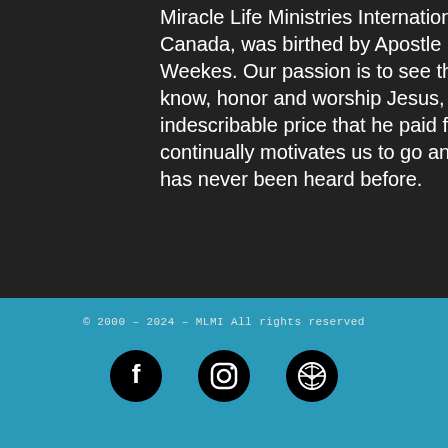Miracle Life Ministries International (MLMI) of Kelowna, B.C. Canada, was birthed by Apostle Everton and Pastor Tracy Weekes. Our passion is to see the nations of the world come to know, honor and worship Jesus, the King of kings. The indescribable price that he paid for lost humanity is what continually motivates us to go and preach the Gospel where it has never been heard before.
© 2000 – 2024 – MLMI All rights reserved
[Figure (other): Three circular social media icons: Facebook, Instagram, and an email/globe icon, displayed in a row on a teal background.]